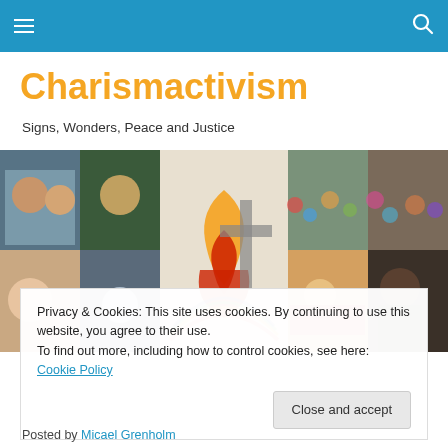Charismactivism — navigation bar
Charismactivism
Signs, Wonders, Peace and Justice
[Figure (photo): Collage of people at various events, protests, worship gatherings, including a woman smiling, crowds, a flame/heart symbol, rainbow flag, and Martin Luther King Jr.]
Privacy & Cookies: This site uses cookies. By continuing to use this website, you agree to their use.
To find out more, including how to control cookies, see here: Cookie Policy
[Close and accept]
Posted by Micael Grenholm